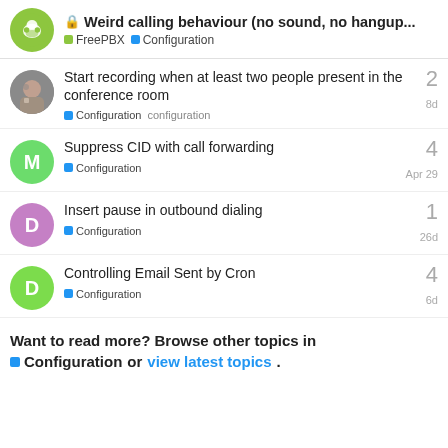Weird calling behaviour (no sound, no hangup... | FreePBX | Configuration
Start recording when at least two people present in the conference room | Configuration | configuration | 2 replies | 8d
Suppress CID with call forwarding | Configuration | 4 replies | Apr 29
Insert pause in outbound dialing | Configuration | 1 reply | 26d
Controlling Email Sent by Cron | Configuration | 4 replies | 6d
Want to read more? Browse other topics in Configuration or view latest topics.